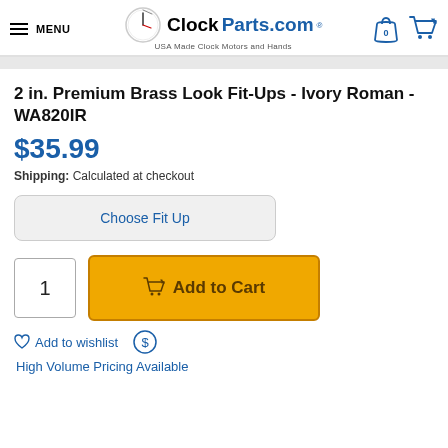MENU | ClockParts.com® USA Made Clock Motors and Hands
2 in. Premium Brass Look Fit-Ups - Ivory Roman - WA820IR
$35.99
Shipping: Calculated at checkout
Choose Fit Up
1
Add to Cart
Add to wishlist
High Volume Pricing Available